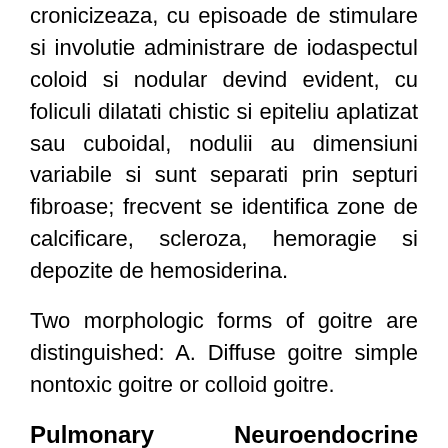cronicizeaza, cu episoade de stimulare si involutie administrare de iodaspectul coloid si nodular devind evident, cu foliculi dilatati chistic si epiteliu aplatizat sau cuboidal, nodulii au dimensiuni variabile si sunt separati prin septuri fibroase; frecvent se identifica zone de calcificare, scleroza, hemoragie si depozite de hemosiderina.
Two morphologic forms of goitre are distinguished: A. Diffuse goitre simple nontoxic goitre or colloid goitre.
Pulmonary Neuroendocrine Tumor With Thyroid Gland Metastasis ...
Nodular goitre multinodular goitre or adenomatous goitre. Pathogenesis of Goitre The